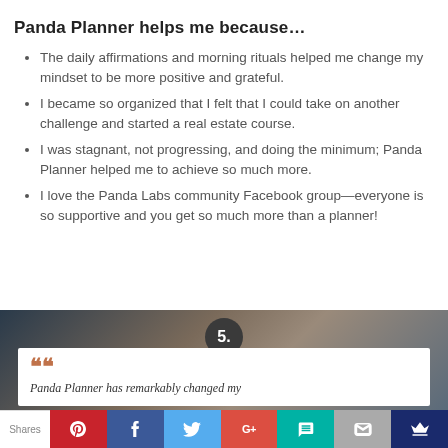Panda Planner helps me because…
The daily affirmations and morning rituals helped me change my mindset to be more positive and grateful.
I became so organized that I felt that I could take on another challenge and started a real estate course.
I was stagnant, not progressing, and doing the minimum; Panda Planner helped me to achieve so much more.
I love the Panda Labs community Facebook group—everyone is so supportive and you get so much more than a planner!
[Figure (photo): Photo background with a circular badge showing '5.' and a white quote card with orange quotation marks and italic text 'Panda Planner has remarkably changed my']
Shares | Pinterest | Facebook | Twitter | G+ | Chat | Mail | Crown